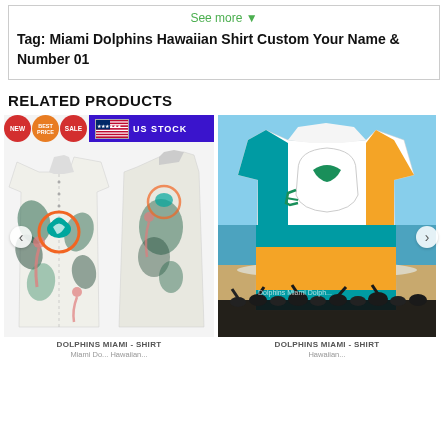See more ▼
Tag: Miami Dolphins Hawaiian Shirt Custom Your Name & Number 01
RELATED PRODUCTS
[Figure (photo): Miami Dolphins Hawaiian shirt product image (front and back views) with US STOCK banner and NEW/BEST PRICE/SALE badges. White tropical-print shirt with dolphins logo and tropical leaves pattern.]
DOLPHINS MIAMI - SHIRT
Miami Dr... Hawaiian...
[Figure (photo): Miami Dolphins Hawaiian shirt product on beach background, featuring teal/orange/white colorblocking with Dolphins helmet logo and crowd silhouette. Text: Dolphins Miami Shirt.]
DOLPHINS MIAMI - SHIRT
Hawaiian...